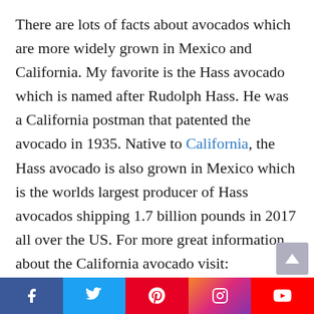There are lots of facts about avocados which are more widely grown in Mexico and California. My favorite is the Hass avocado which is named after Rudolph Hass. He was a California postman that patented the avocado in 1935. Native to California, the Hass avocado is also grown in Mexico which is the worlds largest producer of Hass avocados shipping 1.7 billion pounds in 2017 all over the US. For more great information about the California avocado visit: https://www.californiaavocado.com/ for nearly everything you would want to know
[Figure (other): Social media share bar with Facebook, Twitter, Pinterest, Instagram, and YouTube icons]